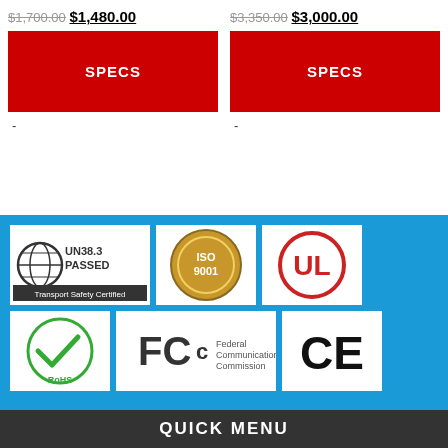$1,700.00 $1,480.00
$3,350.00 $3,000.00
SPECS
SPECS
-
-
[Figure (logo): UN38.3 PASSED Transport Safety Certified logo]
[Figure (logo): ISO 9001 certified badge]
[Figure (logo): UL certification logo]
[Figure (logo): RoHS compliance logo with green checkmark]
[Figure (logo): FCC Federal Communications Commission logo]
[Figure (logo): CE marking logo]
QUICK MENU